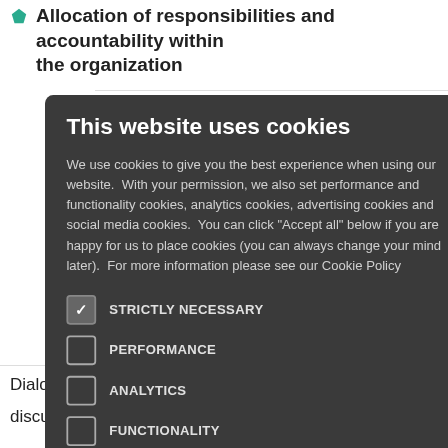Allocation of responsibilities and accountability within the organization
on the labour
ees
dress labour-
n channels and mechanisms)
, make nd operated in n of workers
[Figure (screenshot): Cookie consent modal dialog with dark background showing 'This website uses cookies' title, explanatory text about cookie usage, and five checkboxes: STRICTLY NECESSARY (checked), PERFORMANCE, ANALYTICS, FUNCTIONALITY, SOCIAL MEDIA]
Dialogue mechanism with trade unions to regularly